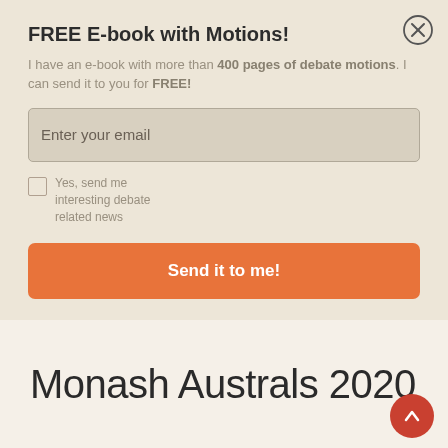FREE E-book with Motions!
I have an e-book with more than 400 pages of debate motions. I can send it to you for FREE!
Enter your email
Yes, send me interesting debate related news
Send it to me!
Monash Australs 2020